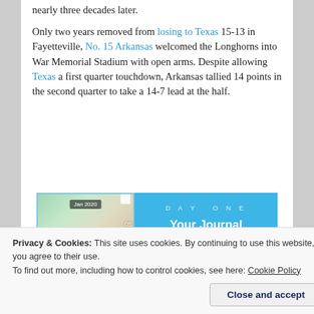nearly three decades later.
Only two years removed from losing to Texas 15-13 in Fayetteville, No. 15 Arkansas welcomed the Longhorns into War Memorial Stadium with open arms. Despite allowing Texas a first quarter touchdown, Arkansas tallied 14 points in the second quarter to take a 14-7 lead at the half.
[Figure (photo): DayOne app advertisement showing app screenshots on the left and 'Your Journal for life' text with a 'Get the app' button on the right, on a blue background.]
Privacy & Cookies: This site uses cookies. By continuing to use this website, you agree to their use.
To find out more, including how to control cookies, see here: Cookie Policy
Close and accept